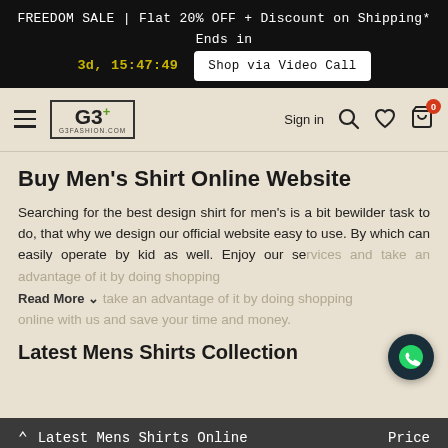FREEDOM SALE | Flat 20% OFF + Discount on Shipping* Ends in 3d, 15:47:49  Shop via Video Call
[Figure (logo): G3Fashion.com logo with G3+ in a box]
Buy Men's Shirt Online Website
Searching for the best design shirt for men's is a bit bewilder task to do, that why we design our official website easy to use. By which can easily operate by kid as well. Enjoy our services and take an advantage of it by doing shopping online with us and save your time and money.
Latest Mens Shirts Collection
Latest Mens Shirts Online   Price
Sort by Latest   Filter By